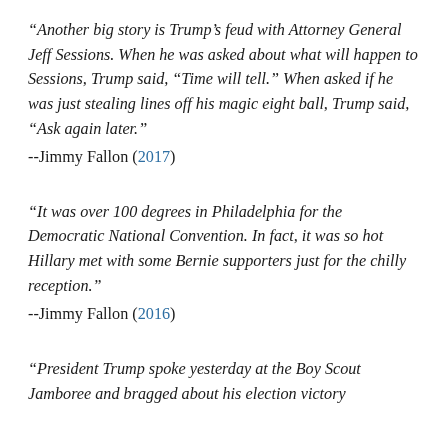“Another big story is Trump’s feud with Attorney General Jeff Sessions. When he was asked about what will happen to Sessions, Trump said, “Time will tell.” When asked if he was just stealing lines off his magic eight ball, Trump said, “Ask again later.”
--Jimmy Fallon (2017)
“It was over 100 degrees in Philadelphia for the Democratic National Convention. In fact, it was so hot Hillary met with some Bernie supporters just for the chilly reception.”
--Jimmy Fallon (2016)
“President Trump spoke yesterday at the Boy Scout Jamboree and bragged about his election victory